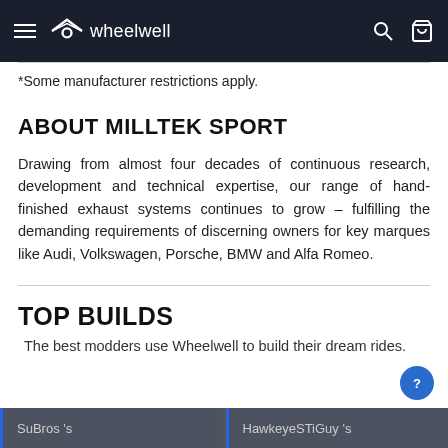wheelwell
*Some manufacturer restrictions apply.
ABOUT MILLTEK SPORT
Drawing from almost four decades of continuous research, development and technical expertise, our range of hand-finished exhaust systems continues to grow – fulfilling the demanding requirements of discerning owners for key marques like Audi, Volkswagen, Porsche, BMW and Alfa Romeo.
TOP BUILDS
The best modders use Wheelwell to build their dream rides.
SuBros 's
HawkeyeSTiGuy 's